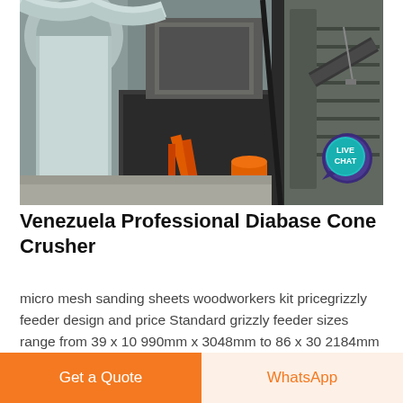[Figure (photo): Industrial mining/crushing facility interior showing heavy equipment, conveyors, pipes, and machinery in a warehouse setting. A 'LIVE CHAT' bubble badge is overlaid in the top-right area of the photo.]
Venezuela Professional Diabase Cone Crusher
micro mesh sanding sheets woodworkers kit pricegrizzly feeder design and price Standard grizzly feeder sizes range from 39 x 10 990mm x 3048mm to 86 x 30 2184mm x 9144mm The grizz Pulverizer Allis Chalmers Crushers Crusher Mills Cone series
Get a Quote
WhatsApp